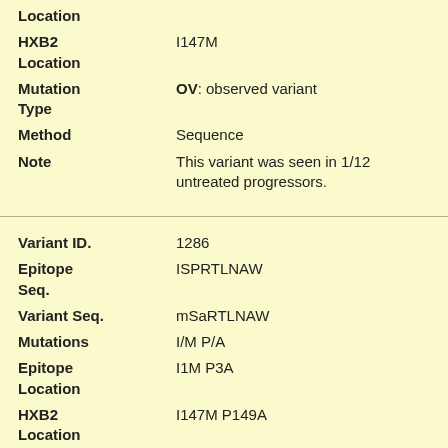| Field | Value |
| --- | --- |
| Location |  |
| HXB2 Location | I147M |
| Mutation Type | OV: observed variant |
| Method | Sequence |
| Note | This variant was seen in 1/12 untreated progressors. |
| Variant ID. | 1286 |
| Epitope Seq. | ISPRTLNAW |
| Variant Seq. | mSaRTLNAW |
| Mutations | I/M P/A |
| Epitope Location | I1M P3A |
| HXB2 Location | I147M P149A |